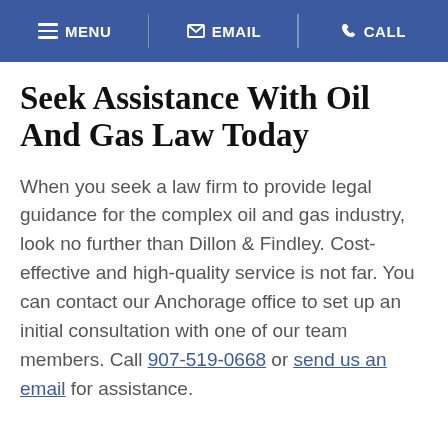MENU  EMAIL  CALL
Seek Assistance With Oil And Gas Law Today
When you seek a law firm to provide legal guidance for the complex oil and gas industry, look no further than Dillon & Findley. Cost-effective and high-quality service is not far. You can contact our Anchorage office to set up an initial consultation with one of our team members. Call 907-519-0668 or send us an email for assistance.